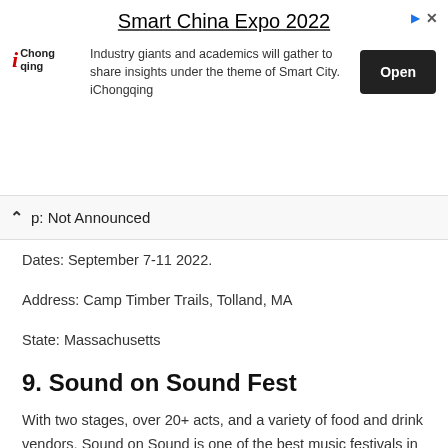[Figure (other): Advertisement banner for Smart China Expo 2022 by iChongqing with Open button]
p: Not Announced
Dates: September 7-11 2022.
Address: Camp Timber Trails, Tolland, MA
State: Massachusetts
9. Sound on Sound Fest
With two stages, over 20+ acts, and a variety of food and drink vendors, Sound on Sound is one of the best music festivals in the state.
The fest is held in Seaside Park, which is one of the most scenic